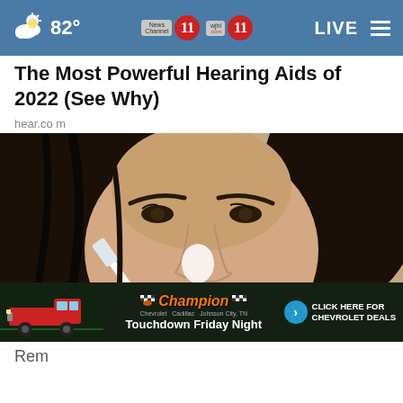82° News Channel 11 wjhl.com 11 LIVE
The Most Powerful Hearing Aids of 2022 (See Why)
hear.com
[Figure (photo): Close-up photo of a woman with dark hair applying something white to her nose area with a white tool/brush]
[Figure (photo): Advertisement banner: Champion Chevrolet - Touchdown Friday Night - Click Here For Chevrolet Deals, featuring a red truck on a football field background]
Rem...